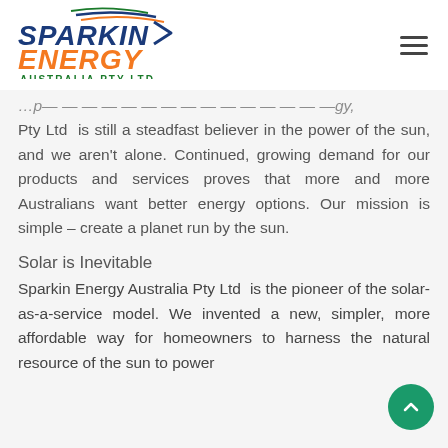Sparkin Energy Australia Pty Ltd
Pty Ltd  is still a steadfast believer in the power of the sun, and we aren't alone. Continued, growing demand for our products and services proves that more and more Australians want better energy options. Our mission is simple – create a planet run by the sun.
Solar is Inevitable
Sparkin Energy Australia Pty Ltd  is the pioneer of the solar-as-a-service model. We invented a new, simpler, more affordable way for homeowners to harness the natural resource of the sun to power